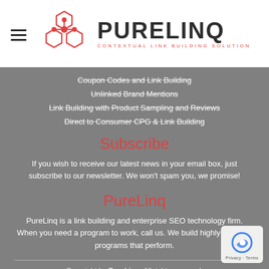[Figure (logo): PureLinq logo with hexagonal network icon and text 'PURELINQ - CONTEXTUAL LINK BUILDING SOLUTION']
Coupon Codes and Link Building
Unlinked Brand Mentions
Link Building with Product Sampling and Reviews
Direct to Consumer CPG & Link Building
Subscribe
If you wish to receive our latest news in your email box, just subscribe to our newsletter. We won't spam you, we promise!
PureLinq
PureLinq is a link building and enterprise SEO technology firm. When you need a program to work, call us. We build highly-complex programs that perform.
Copyright by PureLinq. All rights reserved. HOME ABOUT BLOG